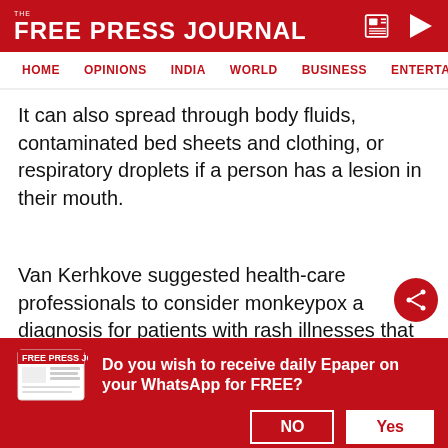THE FREE PRESS JOURNAL
HOME OPINIONS INDIA WORLD BUSINESS ENTERTAIN
It can also spread through body fluids, contaminated bed sheets and clothing, or respiratory droplets if a person has a lesion in their mouth.
Van Kerhkove suggested health-care professionals to consider monkeypox a diagnosis for patients with rash illnesses that present at sexual health clinics, emergency departments, infectious disease clinics, primary-care physicians and dermatologists, the
Do you wish to receive daily Epaper on your WhatsApp for FREE?